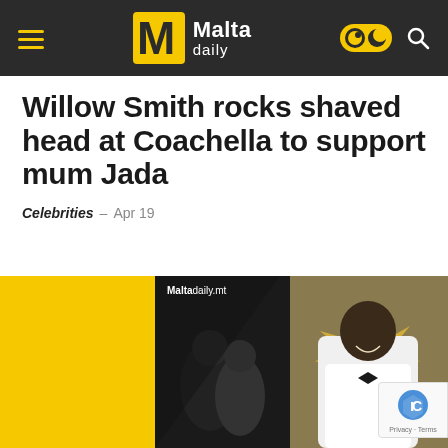Malta daily
Willow Smith rocks shaved head at Coachella to support mum Jada
Celebrities – Apr 19
[Figure (photo): Malta Daily branded composite image showing two people at what appears to be an awards ceremony, with yellow and black geometric design elements and watermark 'Maltadaily.mt']